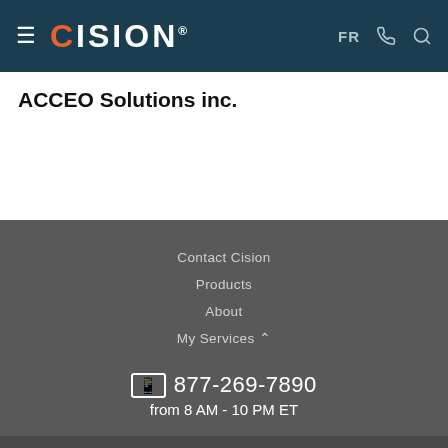CISION — FR [phone icon] [search icon]
ACCEO Solutions inc.
Contact Cision
Products
About
My Services ^
877-269-7890
from 8 AM - 10 PM ET
Terms of Use | Information Security Policy | Site Map | Cookie Settings | Accessibility Statement
Copyright © 2022 CNW Group Ltd. All Rights Reserved. A Cision company